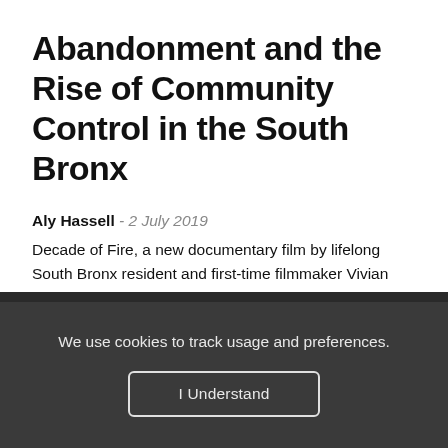Abandonment and the Rise of Community Control in the South Bronx
Aly Hassell - 2 July 2019
Decade of Fire, a new documentary film by lifelong South Bronx resident and first-time filmmaker Vivian Vázquez...
We use cookies to track usage and preferences.
I Understand